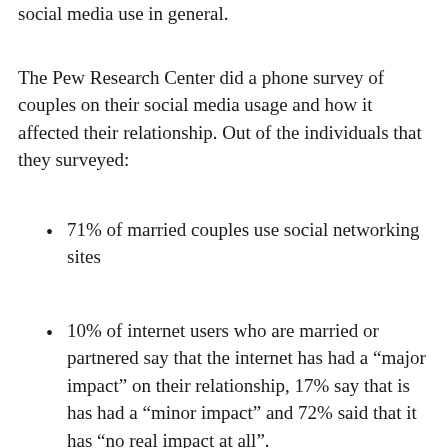social media use in general.
The Pew Research Center did a phone survey of couples on their social media usage and how it affected their relationship. Out of the individuals that they surveyed:
71% of married couples use social networking sites
10% of internet users who are married or partnered say that the internet has had a “major impact” on their relationship, 17% say that is has had a “minor impact” and 72% said that it has “no real impact at all”.
Of those who indicate that it did have